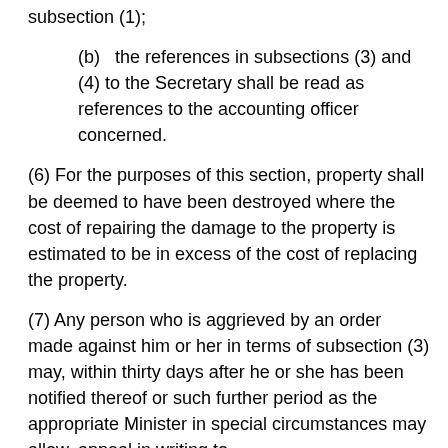subsection (1);
(b)   the references in subsections (3) and (4) to the Secretary shall be read as references to the accounting officer concerned.
(6) For the purposes of this section, property shall be deemed to have been destroyed where the cost of repairing the damage to the property is estimated to be in excess of the cost of replacing the property.
(7) Any person who is aggrieved by an order made against him or her in terms of subsection (3) may, within thirty days after he or she has been notified thereof or such further period as the appropriate Minister in special circumstances may allow, appeal in writing to the Minister or in terms of...